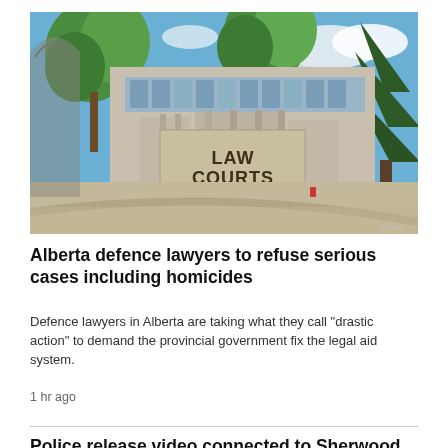[Figure (photo): Exterior photograph of the Law Courts building. A large stone monument in the foreground reads 'LAW COURTS, 1a Sir Winston Churchill Square'. Behind it is a multi-storey concrete building surrounded by trees under a blue sky.]
Alberta defence lawyers to refuse serious cases including homicides
Defence lawyers in Alberta are taking what they call "drastic action" to demand the provincial government fix the legal aid system.
1 hr ago
Police release video connected to Sherwood